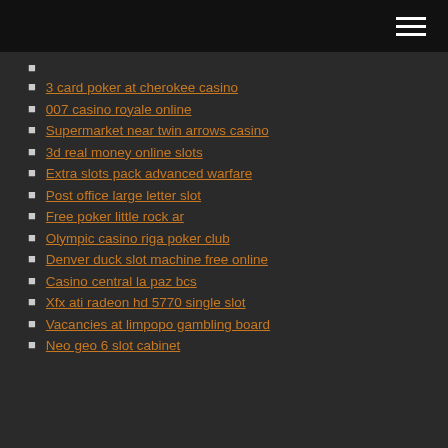3 card poker at cherokee casino
007 casino royale online
Supermarket near twin arrows casino
3d real money online slots
Extra slots pack advanced warfare
Post office large letter slot
Free poker little rock ar
Olympic casino riga poker club
Denver duck slot machine free online
Casino central la paz bcs
Xfx ati radeon hd 5770 single slot
Vacancies at limpopo gambling board
Neo geo 6 slot cabinet